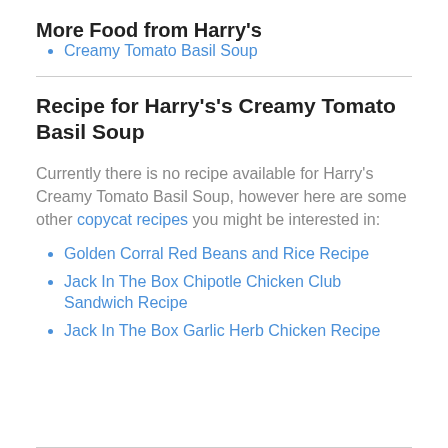More Food from Harry's
Creamy Tomato Basil Soup
Recipe for Harry's's Creamy Tomato Basil Soup
Currently there is no recipe available for Harry's Creamy Tomato Basil Soup, however here are some other copycat recipes you might be interested in:
Golden Corral Red Beans and Rice Recipe
Jack In The Box Chipotle Chicken Club Sandwich Recipe
Jack In The Box Garlic Herb Chicken Recipe